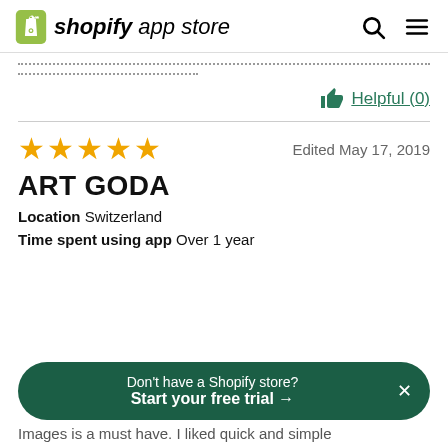shopify app store
..............................................................
......................
Helpful (0)
★★★★★  Edited May 17, 2019
ART GODA
Location  Switzerland
Time spent using app  Over 1 year
Don't have a Shopify store? Start your free trial →
Images is a must have. I liked quick and simple